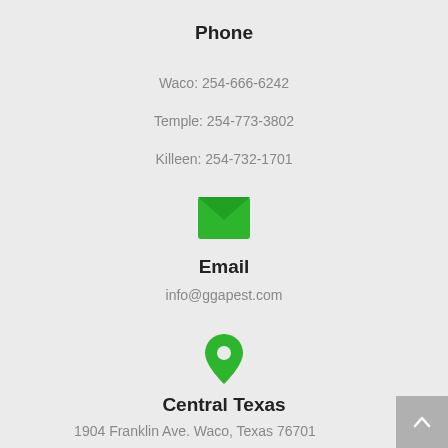Phone
Waco: 254-666-6242
Temple: 254-773-3802
Killeen: 254-732-1701
[Figure (illustration): Green envelope icon representing email]
Email
info@ggapest.com
[Figure (illustration): Green map pin/location marker icon]
Central Texas
1904 Franklin Ave. Waco, Texas 76701